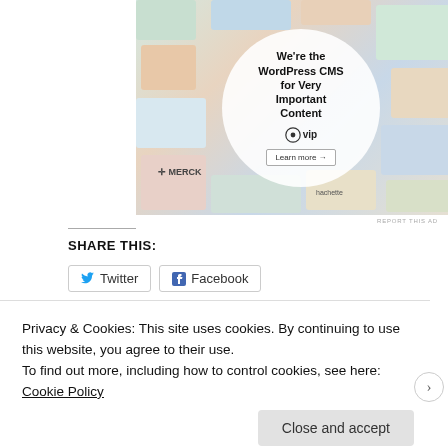[Figure (illustration): WordPress VIP advertisement banner showing 'We're the WordPress CMS for Very Important Content' with a WordPress VIP logo and Learn more button, surrounded by brand logos including Merck, hachette, Capgemini on a colorful collage background of website thumbnails.]
REPORT THIS AD
SHARE THIS:
Twitter  Facebook
Privacy & Cookies: This site uses cookies. By continuing to use this website, you agree to their use.
To find out more, including how to control cookies, see here: Cookie Policy
Close and accept